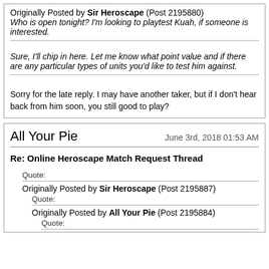Originally Posted by Sir Heroscape (Post 2195880)
Who is open tonight? I'm looking to playtest Kuah, if someone is interested.
Sure, I'll chip in here. Let me know what point value and if there are any particular types of units you'd like to test him against.
Sorry for the late reply. I may have another taker, but if I don't hear back from him soon, you still good to play?
All Your Pie
June 3rd, 2018 01:53 AM
Re: Online Heroscape Match Request Thread
Quote:
Originally Posted by Sir Heroscape (Post 2195887)
Quote:
Originally Posted by All Your Pie (Post 2195884)
Quote: